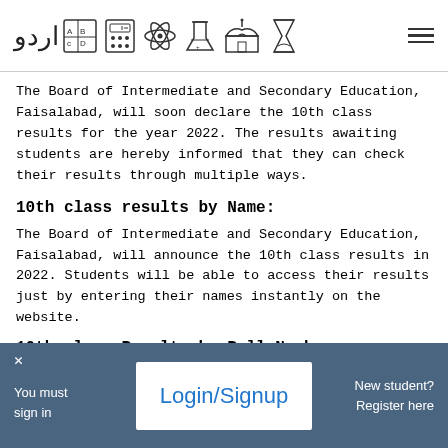[Urdu logo and subject icons: Urdu, ABc, calculator, atom, lab, mosque, hourglass] [hamburger menu]
The Board of Intermediate and Secondary Education, Faisalabad, will soon declare the 10th class results for the year 2022. The results awaiting students are hereby informed that they can check their results through multiple ways.
10th class results by Name:
The Board of Intermediate and Secondary Education, Faisalabad, will announce the 10th class results in 2022. Students will be able to access their results just by entering their names instantly on the website.
10th class Results by Roll Number:
One of the most effective methods to get your 10th class results is by roll number. You can simply enter the roll number on the website provided to you by the board and get your results.
x You must sign in | Login/Signup | New student? Register here